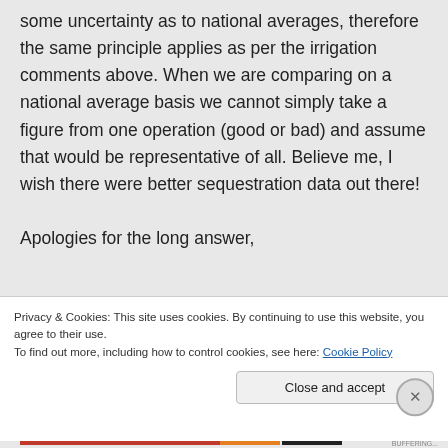some uncertainty as to national averages, therefore the same principle applies as per the irrigation comments above. When we are comparing on a national average basis we cannot simply take a figure from one operation (good or bad) and assume that would be representative of all. Believe me, I wish there were better sequestration data out there!

Apologies for the long answer,
Privacy & Cookies: This site uses cookies. By continuing to use this website, you agree to their use.
To find out more, including how to control cookies, see here: Cookie Policy